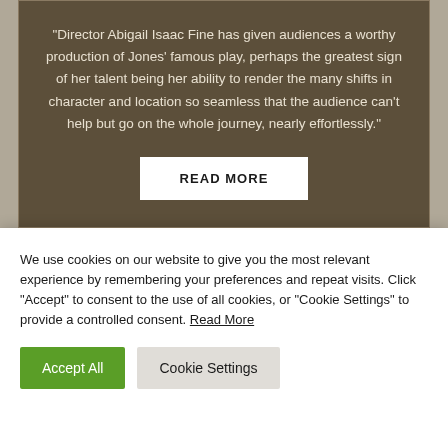“Director Abigail Isaac Fine has given audiences a worthy production of Jones’ famous play, perhaps the greatest sign of her talent being her ability to render the many shifts in character and location so seamless that the audience can’t help but go on the whole journey, nearly effortlessly.”
READ MORE
DC Metro Theater Arts
We use cookies on our website to give you the most relevant experience by remembering your preferences and repeat visits. Click “Accept” to consent to the use of all cookies, or “Cookie Settings” to provide a controlled consent. Read More
Accept All
Cookie Settings